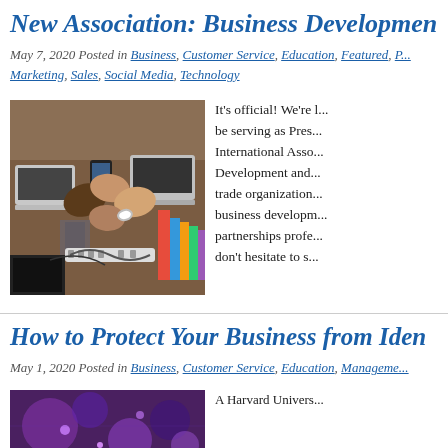New Association: Business Development
May 7, 2020 Posted in Business, Customer Service, Education, Featured, Marketing, Sales, Social Media, Technology
[Figure (photo): Overhead view of people fist-bumping over a desk with laptops and office items]
It's official! We're l... be serving as Pres... International Asso... Development and... trade organization... business develop... partnerships profe... don't hesitate to s...
How to Protect Your Business from Iden
May 1, 2020 Posted in Business, Customer Service, Education, Manageme...
[Figure (photo): Abstract purple background image for identity theft article]